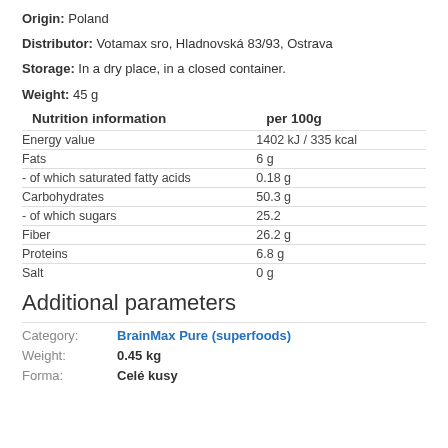Origin: Poland
Distributor: Votamax sro, Hladnovská 83/93, Ostrava
Storage: In a dry place, in a closed container.
Weight: 45 g
| Nutrition information | per 100g |
| --- | --- |
| Energy value | 1402 kJ / 335 kcal |
| Fats | 6 g |
| - of which saturated fatty acids | 0.18 g |
| Carbohydrates | 50.3 g |
| - of which sugars | 25.2 |
| Fiber | 26.2 g |
| Proteins | 6.8 g |
| Salt | 0 g |
Additional parameters
Category: BrainMax Pure (superfoods)
Weight: 0.45 kg
Forma: Celé kusy